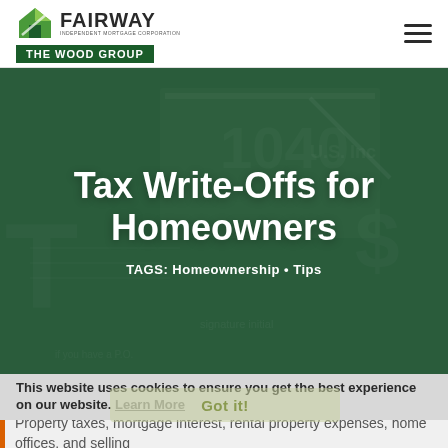[Figure (logo): Fairway Independent Mortgage Corporation - The Wood Group logo with green house icon]
[Figure (photo): Background photo of 1040 US tax forms with green dark overlay tint and large bold white title text]
Tax Write-Offs for Homeowners
TAGS: Homeownership • Tips
This website uses cookies to ensure you get the best experience on our website. Learn More
Property taxes, mortgage interest, rental property expenses, home offices, and selling